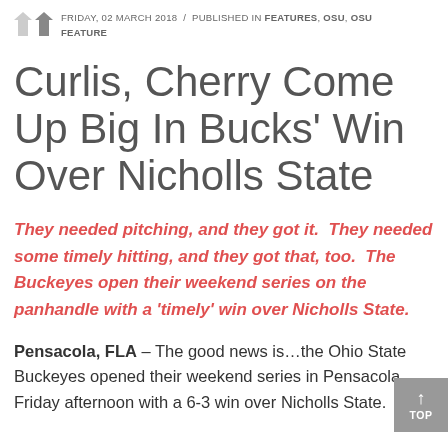FRIDAY, 02 MARCH 2018 / PUBLISHED IN FEATURES, OSU, OSU FEATURE
Curlis, Cherry Come Up Big In Bucks' Win Over Nicholls State
They needed pitching, and they got it.  They needed some timely hitting, and they got that, too.  The Buckeyes open their weekend series on the panhandle with a 'timely' win over Nicholls State.
Pensacola, FLA – The good news is…the Ohio State Buckeyes opened their weekend series in Pensacola Friday afternoon with a 6-3 win over Nicholls State.